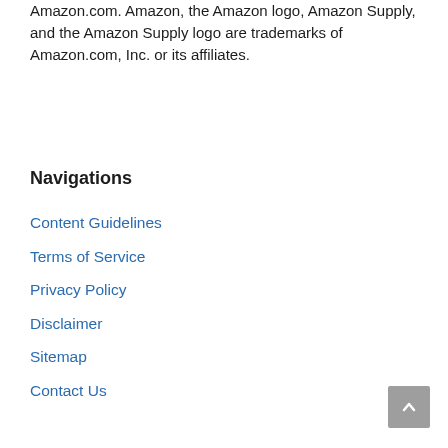Amazon.com. Amazon, the Amazon logo, Amazon Supply, and the Amazon Supply logo are trademarks of Amazon.com, Inc. or its affiliates.
Navigations
Content Guidelines
Terms of Service
Privacy Policy
Disclaimer
Sitemap
Contact Us